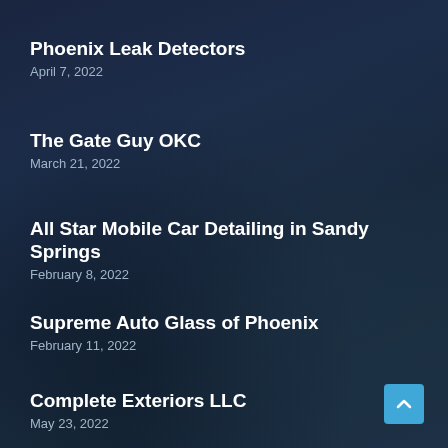Phoenix Leak Detectors
April 7, 2022
The Gate Guy OKC
March 21, 2022
All Star Mobile Car Detailing in Sandy Springs
February 8, 2022
Supreme Auto Glass of Phoenix
February 11, 2022
Complete Exteriors LLC
May 23, 2022